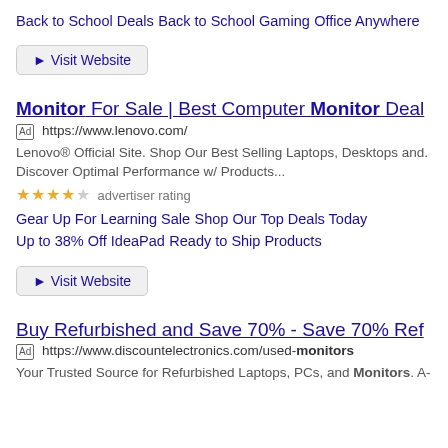Back to School Deals
Back to School Gaming
Office Anywhere
▶ Visit Website
Monitor For Sale | Best Computer Monitor Deal
Ad https://www.lenovo.com/
Lenovo® Official Site. Shop Our Best Selling Laptops, Desktops and. Discover Optimal Performance w/ Products...
★★★★☆ advertiser rating
Gear Up For Learning Sale
Shop Our Top Deals Today
Up to 38% Off IdeaPad
Ready to Ship Products
▶ Visit Website
Buy Refurbished and Save 70% - Save 70% Ref
Ad https://www.discountelectronics.com/used-monitors
Your Trusted Source for Refurbished Laptops, PCs, and Monitors. A-